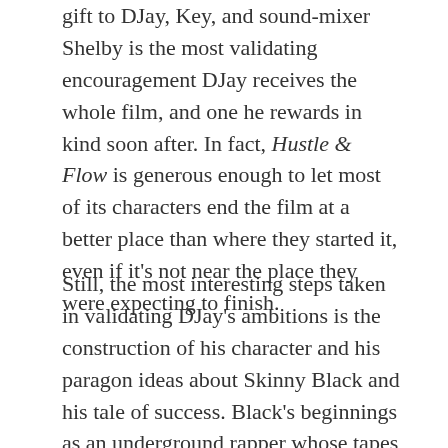gift to DJay, Key, and sound-mixer Shelby is the most validating encouragement DJay receives the whole film, and one he rewards in kind soon after. In fact, Hustle & Flow is generous enough to let most of its characters end the film at a better place than where they started it, even if it's not near the place they were expecting to finish.
Still, the most interesting steps taken in validating DJay's ambitions is the construction of his character and his paragon ideas about Skinny Black and his tale of success. Black's beginnings as an underground rapper whose tapes lit up Memphis inspires DJay to no end, believing their mutual talents would make them kindred spirits while nevertheless projecting a love and loyalty to